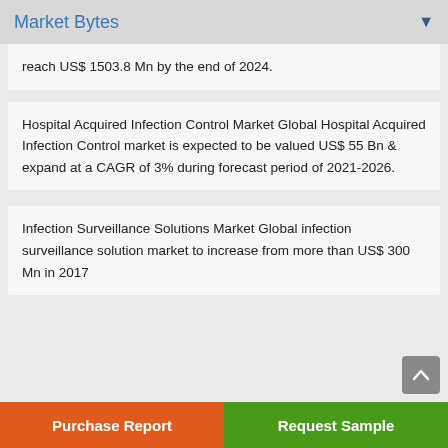Market Bytes
reach US$ 1503.8 Mn by the end of 2024.
Hospital Acquired Infection Control Market Global Hospital Acquired Infection Control market is expected to be valued US$ 55 Bn & expand at a CAGR of 3% during forecast period of 2021-2026.
Infection Surveillance Solutions Market Global infection surveillance solution market to increase from more than US$ 300 Mn in 2017